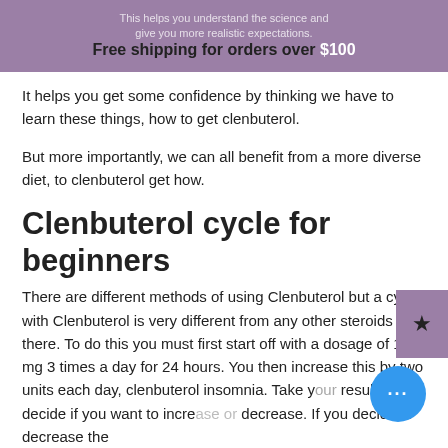This helps you understand the science and give you more realistic expectations.
Free shipping for orders over $100
It helps you get some confidence by thinking we have to learn these things, how to get clenbuterol.
But more importantly, we can all benefit from a more diverse diet, to clenbuterol get how.
Clenbuterol cycle for beginners
There are different methods of using Clenbuterol but a cycle with Clenbuterol is very different from any other steroids out there. To do this you must first start off with a dosage of 100 mg 3 times a day for 24 hours. You then increase this by two units each day, clenbuterol insomnia. Take your results and decide if you want to increase or decrease. If you decide to decrease the